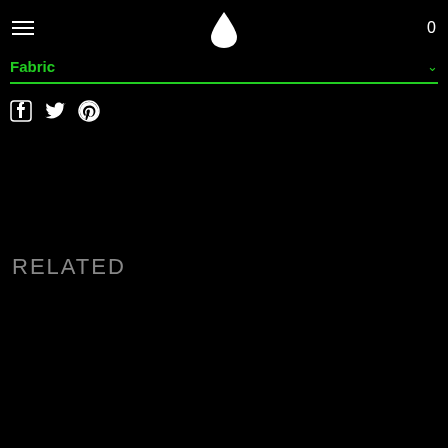☰  [logo drop]  0
Fabric ∨
[Figure (other): Green horizontal rule / divider line]
[Figure (other): Social media share icons: Facebook, Twitter, Pinterest]
RELATED